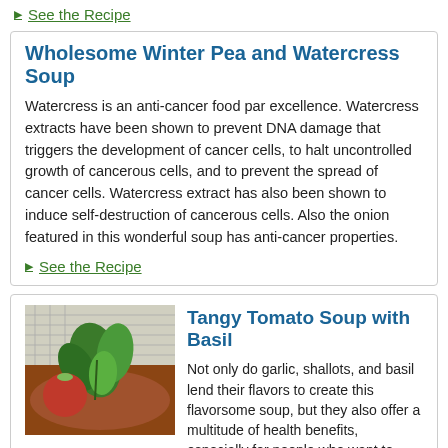▶ See the Recipe
Wholesome Winter Pea and Watercress Soup
Watercress is an anti-cancer food par excellence. Watercress extracts have been shown to prevent DNA damage that triggers the development of cancer cells, to halt uncontrolled growth of cancerous cells, and to prevent the spread of cancer cells. Watercress extract has also been shown to induce self-destruction of cancerous cells. Also the onion featured in this wonderful soup has anti-cancer properties.
▶ See the Recipe
[Figure (photo): Photo of fresh basil leaves on a tomato soup]
Tangy Tomato Soup with Basil
Not only do garlic, shallots, and basil lend their flavors to create this flavorsome soup, but they also offer a multitude of health benefits, especially for people who want to reduce their risk of prostate cancer. One study found that men who ate more than ten grams of garlic a day were 50% less likely to get prostate cancer than those who did not. Garlic's ability to reduce the risk of prostate cancer is believed to be attributable to the organosulphur compounds it contains. Shallots, on the other hand, supply quercetin, a bioflavonoid that has anti-cancer, anti-bacterial, and anti-inflammatory properties while basil is rich in flavonoids which provide antioxidant